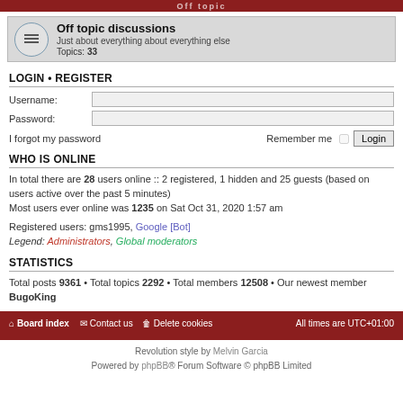Off topic
Off topic discussions
Just about everything about everything else
Topics: 33
LOGIN • REGISTER
Username:
Password:
I forgot my password    Remember me  Login
WHO IS ONLINE
In total there are 28 users online :: 2 registered, 1 hidden and 25 guests (based on users active over the past 5 minutes)
Most users ever online was 1235 on Sat Oct 31, 2020 1:57 am
Registered users: gms1995, Google [Bot]
Legend: Administrators, Global moderators
STATISTICS
Total posts 9361 • Total topics 2292 • Total members 12508 • Our newest member BugoKing
Board index  Contact us  Delete cookies  All times are UTC+01:00
Revolution style by Melvin Garcia
Powered by phpBB® Forum Software © phpBB Limited